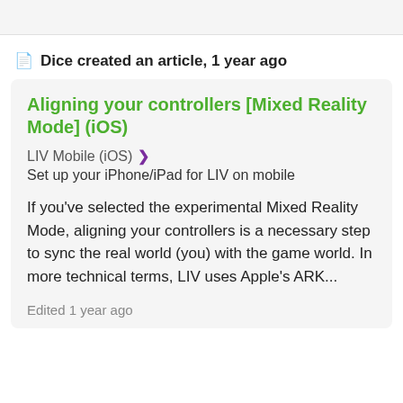Dice created an article, 1 year ago
Aligning your controllers [Mixed Reality Mode] (iOS)
LIV Mobile (iOS) >
Set up your iPhone/iPad for LIV on mobile
If you’ve selected the experimental Mixed Reality Mode, aligning your controllers is a necessary step to sync the real world (you) with the game world. In more technical terms, LIV uses Apple’s ARK...
Edited 1 year ago